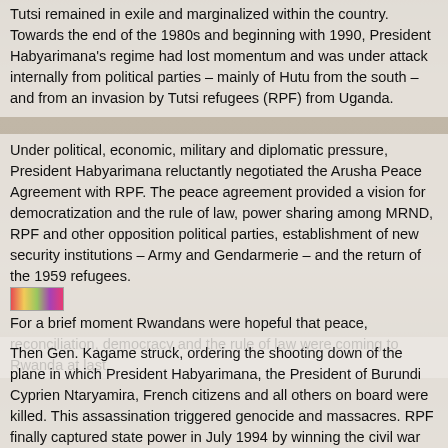Tutsi remained in exile and marginalized within the country. Towards the end of the 1980s and beginning with 1990, President Habyarimana's regime had lost momentum and was under attack internally from political parties – mainly of Hutu from the south – and from an invasion by Tutsi refugees (RPF) from Uganda.
Under political, economic, military and diplomatic pressure, President Habyarimana reluctantly negotiated the Arusha Peace Agreement with RPF. The peace agreement provided a vision for democratization and the rule of law, power sharing among MRND, RPF and other opposition political parties, establishment of new security institutions – Army and Gendarmerie – and the return of the 1959 refugees.
For a brief moment Rwandans were hopeful that peace, reconciliation, democracy and the rule of law were coming to Rwanda at last.
Then Gen. Kagame struck, ordering the shooting down of the plane in which President Habyarimana, the President of Burundi Cyprien Ntaryamira, French citizens and all others on board were killed. This assassination triggered genocide and massacres. RPF finally captured state power in July 1994 by winning the civil war and ending the Arusha Peace Agreement as we know it.